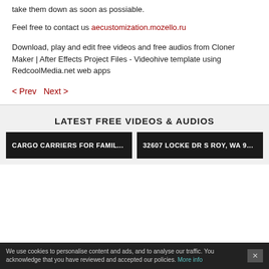take them down as soon as possiable.
Feel free to contact us aecustomization.mozello.ru
Download, play and edit free videos and free audios from Cloner Maker | After Effects Project Files - Videohive template using RedcoolMedia.net web apps
< Prev  Next >
LATEST FREE VIDEOS & AUDIOS
CARGO CARRIERS FOR FAMILY OUTI...
32607 LOCKE DR S ROY, WA 98...
We use cookies to personalise content and ads, and to analyse our traffic. You acknowledge that you have reviewed and accepted our policies. More info